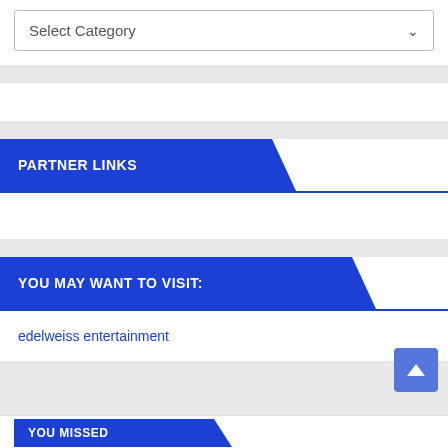Select Category
PARTNER LINKS
YOU MAY WANT TO VISIT:
edelweiss entertainment
YOU MISSED